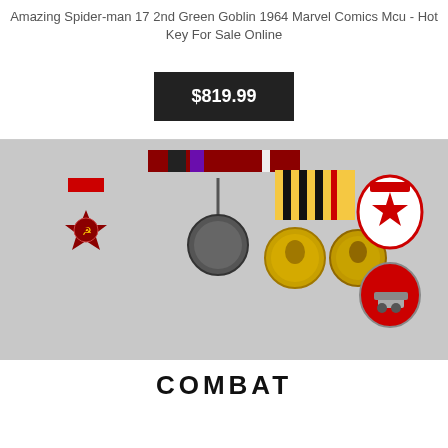Amazing Spider-man 17 2nd Green Goblin 1964 Marvel Comics Mcu - Hot Key For Sale Online
$819.99
[Figure (photo): Collection of Soviet/military medals and decorations including a star Order of the Red Star, several circular medals with portrait profiles, a red badge with a red star, and a red enamel badge, arranged on a gray background with a ribbon bar at the top.]
COMBAT